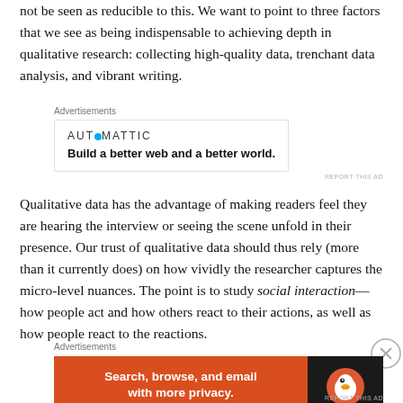not be seen as reducible to this. We want to point to three factors that we see as being indispensable to achieving depth in qualitative research: collecting high-quality data, trenchant data analysis, and vibrant writing.
[Figure (other): Automattic advertisement: 'Build a better web and a better world.' with Automattic logo]
Qualitative data has the advantage of making readers feel they are hearing the interview or seeing the scene unfold in their presence. Our trust of qualitative data should thus rely (more than it currently does) on how vividly the researcher captures the micro-level nuances. The point is to study social interaction—how people act and how others react to their actions, as well as how people react to the reactions.
[Figure (other): DuckDuckGo advertisement: 'Search, browse, and email with more privacy. All in One Free App']